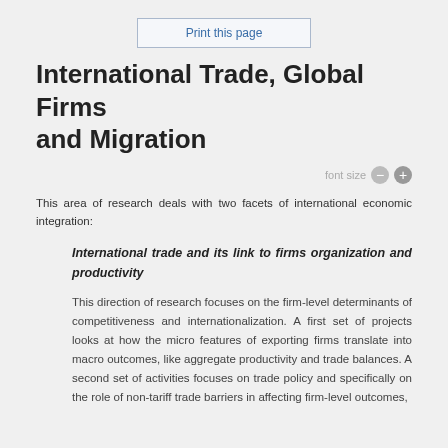Print this page
International Trade, Global Firms and Migration
font size - +
This area of research deals with two facets of international economic integration:
International trade and its link to firms organization and productivity
This direction of research focuses on the firm-level determinants of competitiveness and internationalization. A first set of projects looks at how the micro features of exporting firms translate into macro outcomes, like aggregate productivity and trade balances. A second set of activities focuses on trade policy and specifically on the role of non-tariff trade barriers in affecting firm-level outcomes,